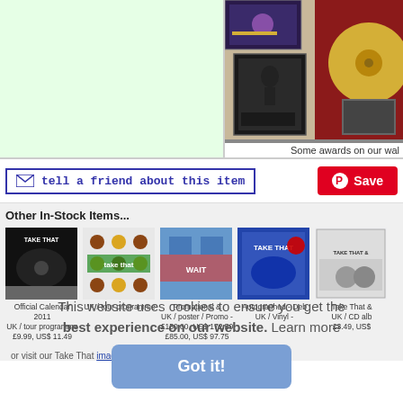[Figure (photo): Green background area on the left, photo of music awards on the right wall]
Some awards on our wal
tell a friend about this item
[Figure (logo): Pinterest Save button]
Other In-Stock Items...
[Figure (photo): Take That official calendar 2011 album cover]
Official Calendar 2011
UK / tour programme
£9.99, US$ 11.49
[Figure (photo): Take That colourful circles album cover]
UK / tour programme
[Figure (photo): Take That promotional photo]
Promotional &
UK / poster / Promo - £150.00, US$ 172.50
£85.00, US$ 97.75
[Figure (photo): Take That autographed blue cover]
Autographed - Deb
UK / Vinyl -
[Figure (photo): Take That & UK CD album]
Take That &
UK / CD alb
£3.49, US$
This website uses cookies to ensure you get the best experience on our website. Learn more
Got it!
or visit our Take That image gal